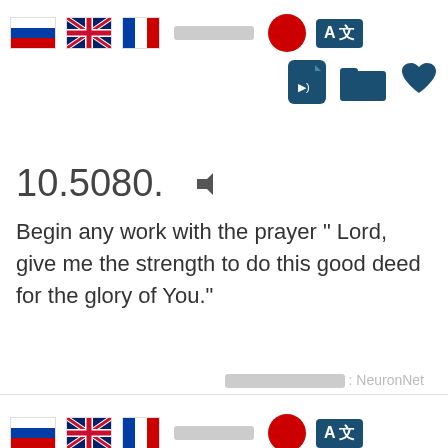[Figure (screenshot): App toolbar with language flags (Russian, UK, French), blurred text, Japanese flag circle, translate button, audio file icon, folder icon, heart icon]
10.5080.
Begin any work with the prayer " Lord, give me the strength to do this good deed for the glory of You."
NeuronNet
[Figure (screenshot): Partial bottom toolbar with language flags (Russian, UK, French), blurred text, Japanese flag circle, translate button — cropped at page bottom]